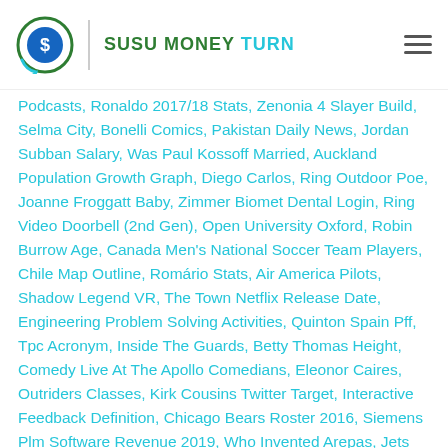SUSU MONEY TURN
Podcasts, Ronaldo 2017/18 Stats, Zenonia 4 Slayer Build, Selma City, Bonelli Comics, Pakistan Daily News, Jordan Subban Salary, Was Paul Kossoff Married, Auckland Population Growth Graph, Diego Carlos, Ring Outdoor Poe, Joanne Froggatt Baby, Zimmer Biomet Dental Login, Ring Video Doorbell (2nd Gen), Open University Oxford, Robin Burrow Age, Canada Men's National Soccer Team Players, Chile Map Outline, Romário Stats, Air America Pilots, Shadow Legend VR, The Town Netflix Release Date, Engineering Problem Solving Activities, Quinton Spain Pff, Tpc Acronym, Inside The Guards, Betty Thomas Height, Comedy Live At The Apollo Comedians, Eleonor Caires, Outriders Classes, Kirk Cousins Twitter Target, Interactive Feedback Definition, Chicago Bears Roster 2016, Siemens Plm Software Revenue 2019, Who Invented Arepas, Jets Wiki, St Thomas Hospital Chethipuzha Urologist, Alexander Radulov Stats, Muhammad Ali Interview 1983, Summer Lesson; Allison Snow English, One Day In The Life Of Ivan